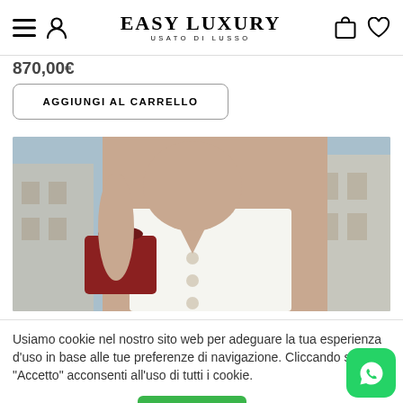EASY LUXURY — USATO DI LUSSO
870,00€
AGGIUNGI AL CARRELLO
[Figure (photo): Fashion photo of a woman wearing a white button-front camisole top with spaghetti straps and layered necklaces, carrying a dark red bag, photographed outdoors with buildings in the background.]
Usiamo cookie nel nostro sito web per adeguare la tua esperienza d'uso in base alle tue preferenze di navigazione. Cliccando su "Accetto" acconsenti all'uso di tutti i cookie.
Impostazione Cookie
ACCETTO